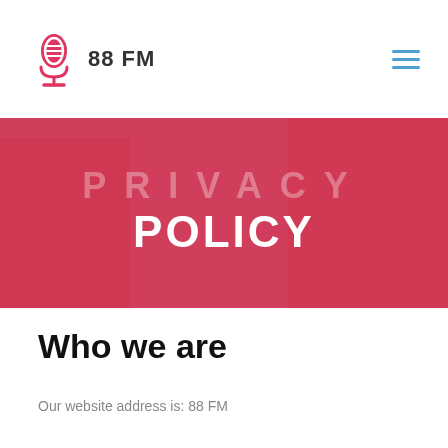88 FM
[Figure (illustration): Hero banner with pink/red gradient overlay on a radio studio background image, with large text reading PRIVACY in semi-transparent letters and POLICY in bold white below]
PRIVACY POLICY
Who we are
Our website address is: 88 FM